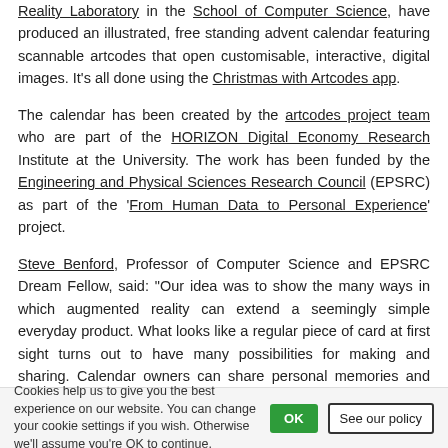Reality Laboratory in the School of Computer Science, have produced an illustrated, free standing advent calendar featuring scannable artcodes that open customisable, interactive, digital images. It's all done using the Christmas with Artcodes app.
The calendar has been created by the artcodes project team who are part of the HORIZON Digital Economy Research Institute at the University. The work has been funded by the Engineering and Physical Sciences Research Council (EPSRC) as part of the 'From Human Data to Personal Experience' project.
Steve Benford, Professor of Computer Science and EPSRC Dream Fellow, said: “Our idea was to show the many ways in which augmented reality can extend a seemingly simple everyday product. What looks like a regular piece of card at first sight turns out to have many possibilities for making and sharing. Calendar owners can share personal memories and messages with friends and families through their calendars.   Companies can wrap up the calendar with their own layers of stories and content for their customers. Crafters can learn how to draw their own augmented reality stickers. You can even throw the
Cookies help us to give you the best experience on our website. You can change your cookie settings if you wish. Otherwise we'll assume you're OK to continue.